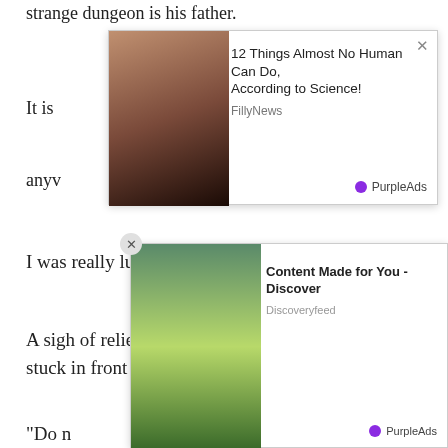strange dungeon is his father.
[Figure (screenshot): Ad overlay showing a woman with glasses. Title: '12 Things Almost No Human Can Do, According to Science!' Source: FillyNews. Brand: PurpleAds]
It is
anyv
I was really lucky because it was a dream.
A sigh of relief, turning around, I saw a schoolgirl stuck in front of Suho’s eyes.
It was a surprise that the patron who was asleep suddenly rose.
In order to shake the awkward atmosphere, the guard first spoke
[Figure (screenshot): Ad overlay showing mountain landscape. Title: 'Content Made for You - Discover'. Source: Discoveryfeed. Brand: PurpleAds]
“Do n